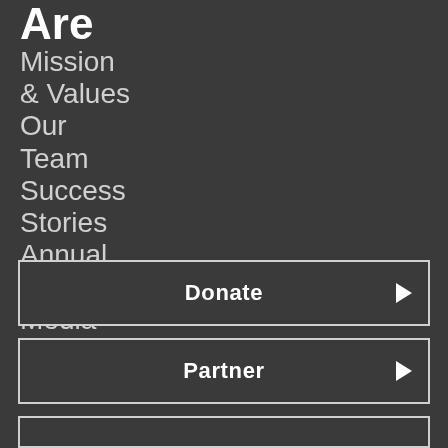Are
Mission & Values
Our Team
Success Stories
Annual Report
Media
Resources
Foundation
Donate
Partner